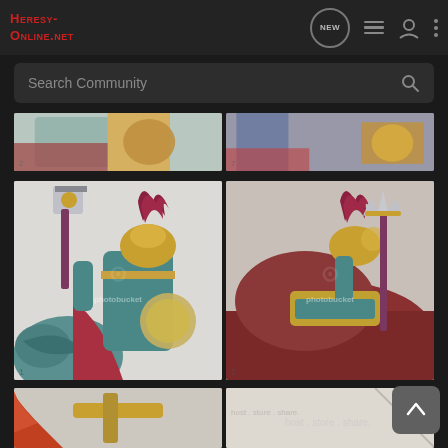[Figure (screenshot): Heresy-Online.net website screenshot showing navigation bar with logo, NEW button, list icon, user icon, and more options icon. Below is a search bar reading 'Search Community'. The main content shows a grid of Warhammer miniature painted figurine photos with a Photobucket watermark overlay. The page has a dark background.]